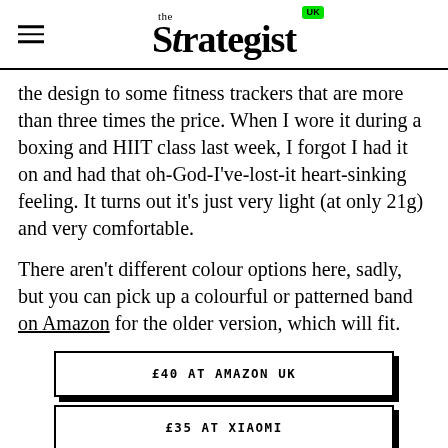the Strategist UK
the design to some fitness trackers that are more than three times the price. When I wore it during a boxing and HIIT class last week, I forgot I had it on and had that oh-God-I've-lost-it heart-sinking feeling. It turns out it's just very light (at only 21g) and very comfortable.
There aren't different colour options here, sadly, but you can pick up a colourful or patterned band on Amazon for the older version, which will fit.
£40 AT AMAZON UK
£35 AT XIAOMI